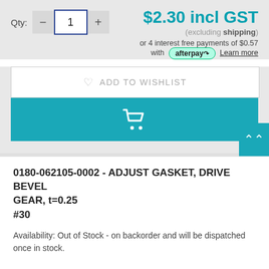Qty: 1  $2.30 incl GST (excluding shipping) or 4 interest free payments of $0.57 with afterpay Learn more
ADD TO WISHLIST
[Figure (screenshot): Teal add to cart button with shopping cart icon]
0180-062105-0002 - ADJUST GASKET, DRIVE BEVEL GEAR, t=0.25 #30
Availability: Out of Stock - on backorder and will be dispatched once in stock.
Qty: 1  $4.28 incl GST (excluding shipping)